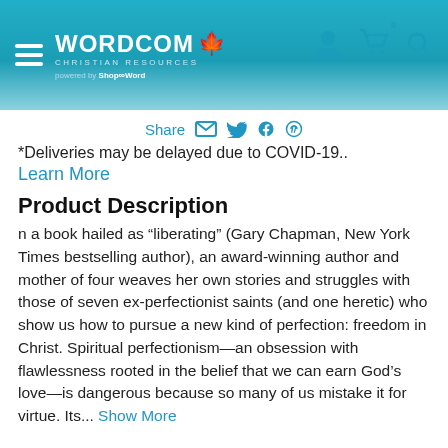Wordcom Christian Resources — powered by ShopTheWord
Share
*Deliveries may be delayed due to COVID-19..
Learn More
Product Description
n a book hailed as “liberating” (Gary Chapman, New York Times bestselling author), an award-winning author and mother of four weaves her own stories and struggles with those of seven ex-perfectionist saints (and one heretic) who show us how to pursue a new kind of perfection: freedom in Christ. Spiritual perfectionism—an obsession with flawlessness rooted in the belief that we can earn God’s love—is dangerous because so many of us mistake it for virtue. Its... Show More